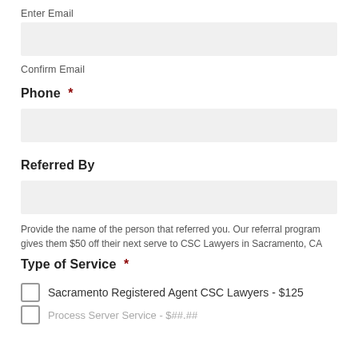Enter Email
Confirm Email
Phone *
Referred By
Provide the name of the person that referred you. Our referral program gives them $50 off their next serve to CSC Lawyers in Sacramento, CA
Type of Service *
Sacramento Registered Agent CSC Lawyers - $125